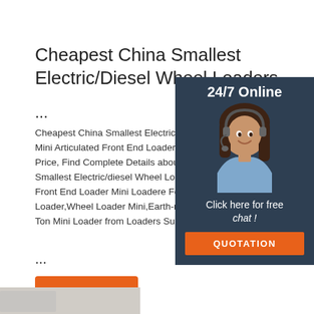Cheapest China Smallest Electric/Diesel Wheel Loaders ...
Cheapest China Smallest Electric/diesel Wheel Loaders Mini Articulated Front End Loader Mini Loadere For Sale Price, Find Complete Details about Cheapest China Smallest Electric/diesel Wheel Loaders Mini Articulated Front End Loader Mini Loadere For Sale Price,Wheel Loader,Wheel Loader Mini,Earth-moving Machinery 2 Ton Mini Loader from Loaders Supplier or Man... ...
[Figure (photo): Customer service representative woman with headset, smiling, overlaid on dark blue-gray sidebar popup with 24/7 Online label, Click here for free chat text, and QUOTATION orange button]
Get Price